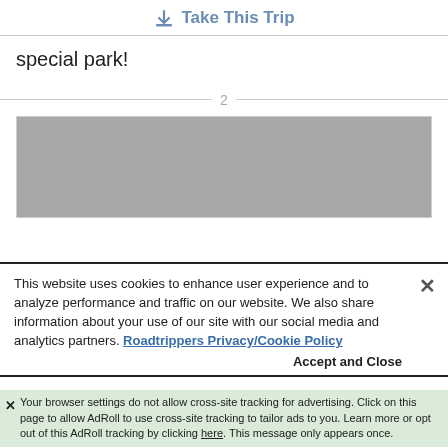Take This Trip
special park!
2
[Figure (photo): Grey placeholder image rectangle]
This website uses cookies to enhance user experience and to analyze performance and traffic on our website. We also share information about your use of our site with our social media and analytics partners. Roadtrippers Privacy/Cookie Policy
Accept and Close
Your browser settings do not allow cross-site tracking for advertising. Click on this page to allow AdRoll to use cross-site tracking to tailor ads to you. Learn more or opt out of this AdRoll tracking by clicking here. This message only appears once.